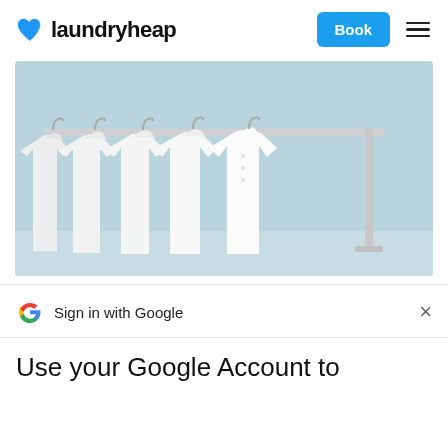laundryheap  Book
[Figure (photo): White dress shirts hanging on a clothing rack against a light blue background]
Sign in with Google
Use your Google Account to